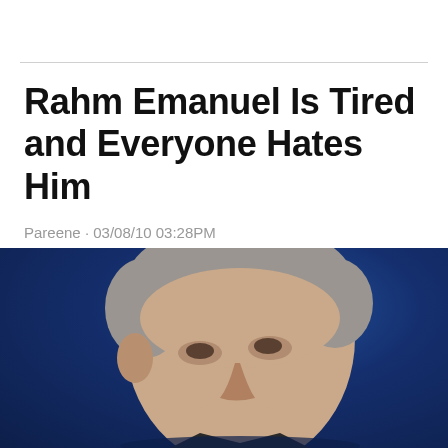Rahm Emanuel Is Tired and Everyone Hates Him
Pareene · 03/08/10 03:28PM
[Figure (photo): Close-up photograph of Rahm Emanuel smiling, against a dark blue background, showing his face and gray hair from a slightly below angle.]